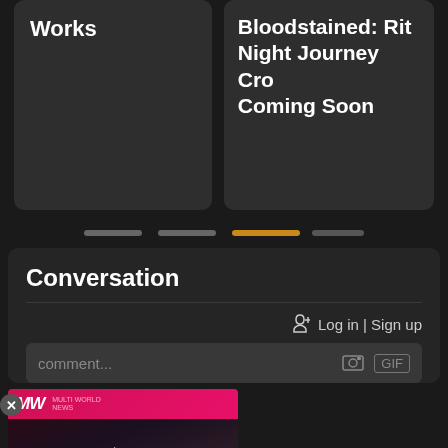Works
Bloodstained: Rit
Night Journey Cro
Coming Soon
[Figure (screenshot): Pagination indicator dots with four segments, third one highlighted in orange/gold color]
Conversation
Log in | Sign up
comment...
[Figure (infographic): Ad overlay with close button, MW logo in pink/red, video thumbnail for Best Retro Switch Games with play button]
BEST RETRO
SWITCH GAMES
OpenWeb
Terms | Privacy | Feedback
[Figure (screenshot): Bottom advertisement banner with white/cream background and close X button]